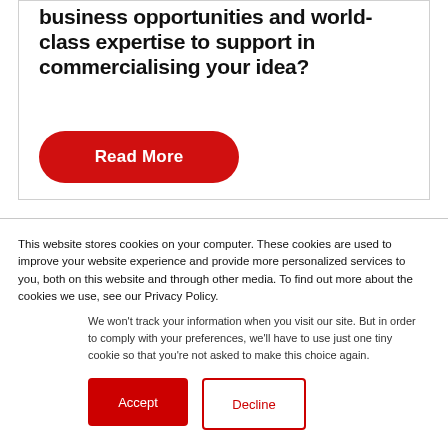business opportunities and world-class expertise to support in commercialising your idea?
[Figure (other): Red rounded rectangle button labeled 'Read More']
This website stores cookies on your computer. These cookies are used to improve your website experience and provide more personalized services to you, both on this website and through other media. To find out more about the cookies we use, see our Privacy Policy.
We won't track your information when you visit our site. But in order to comply with your preferences, we'll have to use just one tiny cookie so that you're not asked to make this choice again.
Accept | Decline